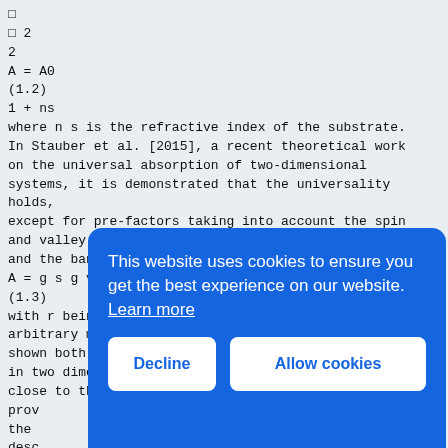□
□ 2
2
A = A0
(1.2)
1 + ns
where n s is the refractive index of the substrate.
In Stauber et al. [2015], a recent theoretical work
on the universal absorption of two-dimensional
systems, it is demonstrated that the universality
holds,
except for pre-factors taking into account the spin
and valley degeneracy g s , g v
and the band curvature v:
A = g s g v v|1 + r |2 A q
(1.3)
with r being the Fresnel reflection coefficient of an
arbitrary multilayer system and A q = πα/4. This is
shown both for Dirac and Schroedinger fermions
in two dimensions, gapless or gapped but for energies
close to the band gap.
prov
the
desc
We n
abso
rela
opti
A 0
(1.4
or b
Fermi's golden rule.
[Figure (other): Cookie consent banner overlay: blue rounded rectangle with text 'This website uses cookies to ensure you get the best experience on our website. Learn more' and two buttons: 'Decline' and 'Allow cookies']